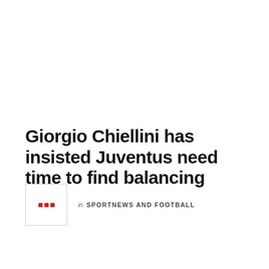Giorgio Chiellini has insisted Juventus need time to find balancing
in SPORTNEWS AND FOOTBALL